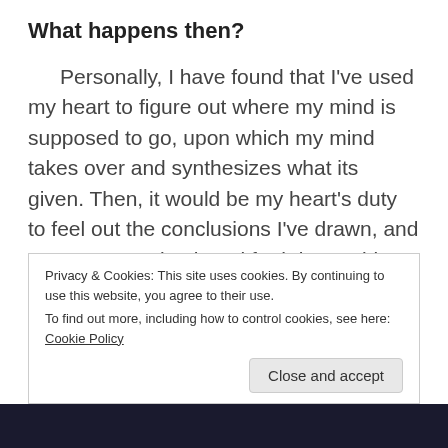What happens then?
Personally, I have found that I've used my heart to figure out where my mind is supposed to go, upon which my mind takes over and synthesizes what its given. Then, it would be my heart's duty to feel out the conclusions I've drawn, and so on. It goes back and forth in an ebb and flow continuously. In rare instances, I find the two coalesce, like two bodies in space that circle around one another until gravity finally leads them to join in an epic blaze of light and color. They become the same thing essentially, that is what I meant by there
Privacy & Cookies: This site uses cookies. By continuing to use this website, you agree to their use.
To find out more, including how to control cookies, see here: Cookie Policy
Close and accept
[Figure (photo): Dark image strip at the bottom of the page, appears to be a space or night sky photo]